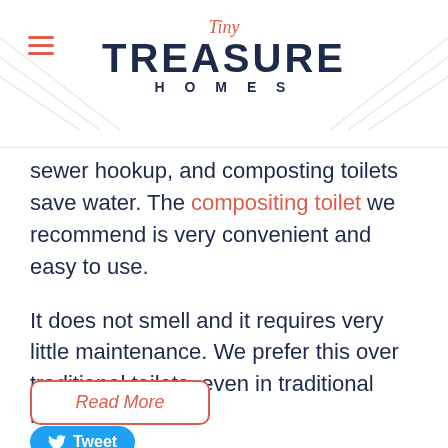Tiny Treasure Homes
sewer hookup, and composting toilets save water. The compositing toilet we recommend is very convenient and easy to use.
It does not smell and it requires very little maintenance. We prefer this over traditional toilets, even in traditional homes!
Read More
Tweet